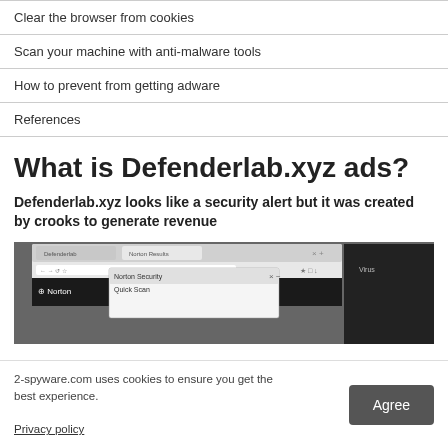Clear the browser from cookies
Scan your machine with anti-malware tools
How to prevent from getting adware
References
What is Defenderlab.xyz ads?
Defenderlab.xyz looks like a security alert but it was created by crooks to generate revenue
[Figure (screenshot): Screenshot of a browser window showing a Norton Security popup dialog over a browser tab, with dark background]
2-spyware.com uses cookies to ensure you get the best experience.
Privacy policy  Agree